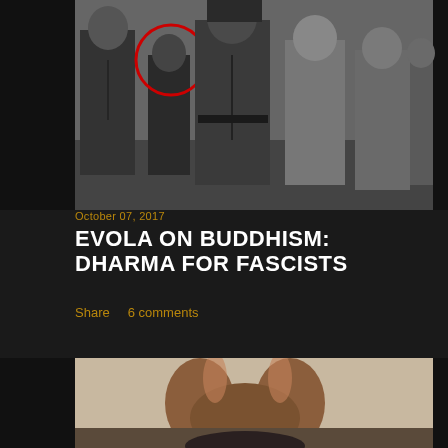[Figure (photo): Black and white historical photograph showing a group of men in military uniforms. One person is circled in red.]
October 07, 2017
EVOLA ON BUDDHISM: DHARMA FOR FASCISTS
Share    6 comments
[Figure (photo): Partial view of a Buddha statue or figurine, showing legs in a seated position, tan/bronze colored.]